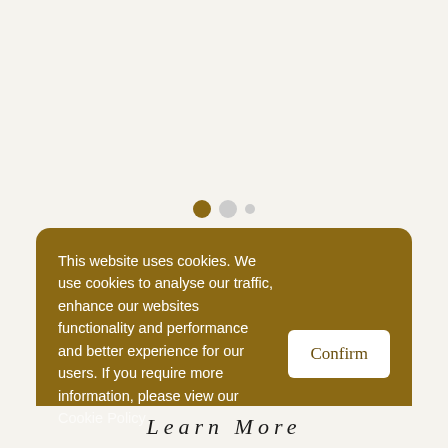[Figure (other): Carousel slide indicator with three dots: one large filled gold/brown dot (active), one medium grey dot, one small grey dot, on a cream background]
This website uses cookies. We use cookies to analyse our traffic, enhance our websites functionality and performance and better experience for our users. If you require more information, please view our Cookie Policy
Confirm
Learn More